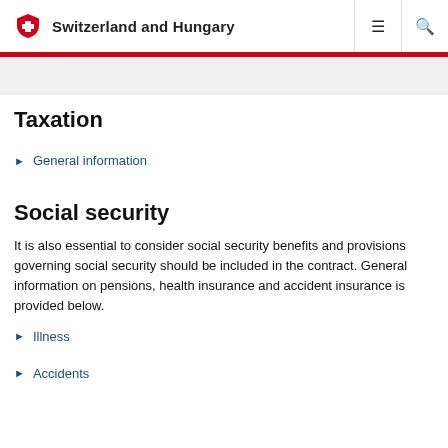Switzerland and Hungary
Taxation
General information
Social security
It is also essential to consider social security benefits and provisions governing social security should be included in the contract. General information on pensions, health insurance and accident insurance is provided below.
Illness
Accidents